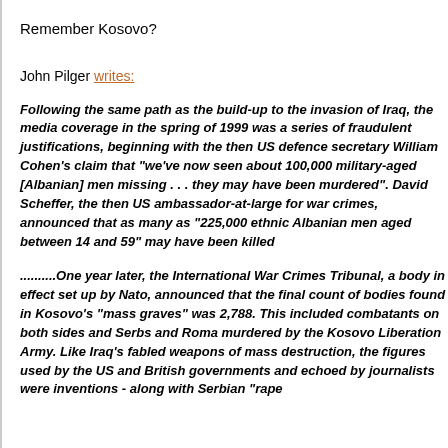Remember Kosovo?
John Pilger writes:
Following the same path as the build-up to the invasion of Iraq, the media coverage in the spring of 1999 was a series of fraudulent justifications, beginning with the then US defence secretary William Cohen's claim that "we've now seen about 100,000 military-aged [Albanian] men missing . . . they may have been murdered". David Scheffer, the then US ambassador-at-large for war crimes, announced that as many as "225,000 ethnic Albanian men aged between 14 and 59" may have been killed
..........One year later, the International War Crimes Tribunal, a body in effect set up by Nato, announced that the final count of bodies found in Kosovo's "mass graves" was 2,788. This included combatants on both sides and Serbs and Roma murdered by the Kosovo Liberation Army. Like Iraq's fabled weapons of mass destruction, the figures used by the US and British governments and echoed by journalists were inventions - along with Serbian "rape camps" and other atrocities...